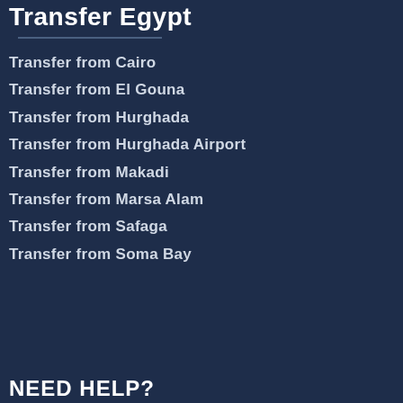Transfer Egypt
Transfer from Cairo
Transfer from El Gouna
Transfer from Hurghada
Transfer from Hurghada Airport
Transfer from Makadi
Transfer from Marsa Alam
Transfer from Safaga
Transfer from Soma Bay
NEED HELP?